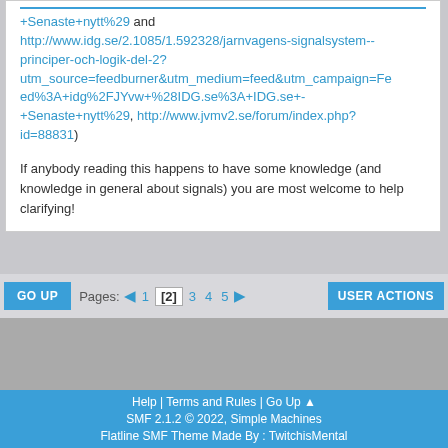+Senaste+nytt%29 and http://www.idg.se/2.1085/1.592328/jarnvagens-signalsystem--principer-och-logik-del-2?utm_source=feedburner&utm_medium=feed&utm_campaign=Feed%3A+idg%2FJYvw+%28IDG.se%3A+IDG.se+-+Senaste+nytt%29, http://www.jvmv2.se/forum/index.php?id=88831)
If anybody reading this happens to have some knowledge (and knowledge in general about signals) you are most welcome to help clarifying!
GO UP | Pages: 1 [2] 3 4 5 | USER ACTIONS
Help | Terms and Rules | Go Up ▲
SMF 2.1.2 © 2022, Simple Machines
Flatline SMF Theme Made By : TwitchisMental